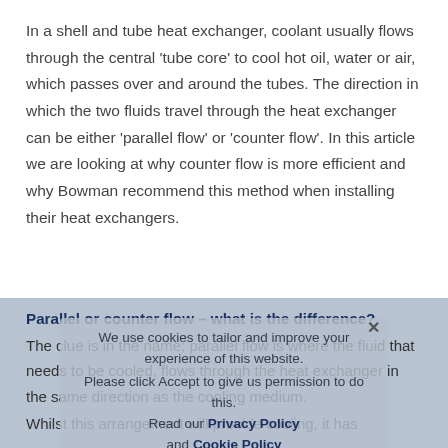In a shell and tube heat exchanger, coolant usually flows through the central 'tube core' to cool hot oil, water or air, which passes over and around the tubes. The direction in which the two fluids travel through the heat exchanger can be either 'parallel flow' or 'counter flow'. In this article we are looking at why counter flow is more efficient and why Bowman recommend this method when installing their heat exchangers.
Parallel or counter flow – what is the difference?
The clue is in the name; parallel flow is where the fluid that needs to be cooled, flows through the heat exchanger in the same direction as the cooling medium.
Whilst this arrangement will provide cooling, it has